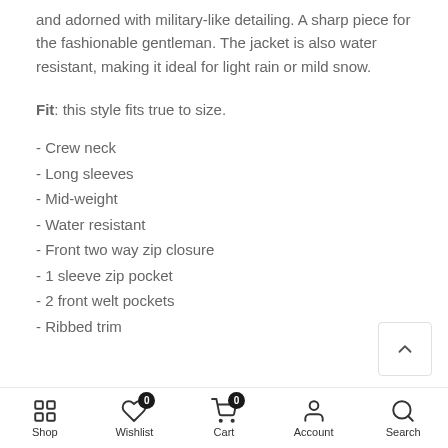and adorned with military-like detailing. A sharp piece for the fashionable gentleman. The jacket is also water resistant, making it ideal for light rain or mild snow.
Fit: this style fits true to size.
- Crew neck
- Long sleeves
- Mid-weight
- Water resistant
- Front two way zip closure
- 1 sleeve zip pocket
- 2 front welt pockets
- Ribbed trim
Shop | Wishlist 0 | Cart 0 | Account | Search